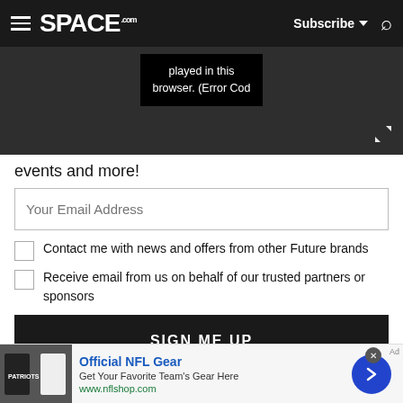SPACE.com — Subscribe — Search
[Figure (screenshot): Video player error message on dark background showing 'played in this browser. (Error Cod' with expand icon]
events and more!
Your Email Address
Contact me with news and offers from other Future brands
Receive email from us on behalf of our trusted partners or sponsors
SIGN ME UP
[Figure (infographic): Advertisement banner: Official NFL Gear — Get Your Favorite Team's Gear Here — www.nflshop.com — with NFL jersey photo and blue circle arrow button]